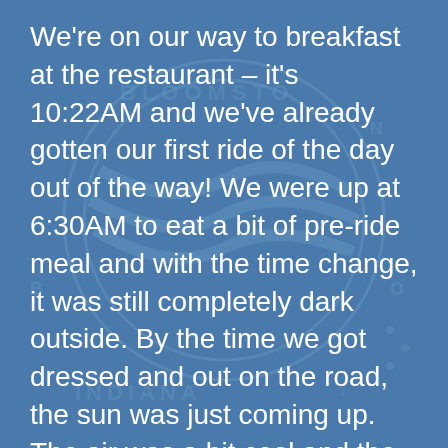We're on our way to breakfast at the restaurant – it's 10:22AM and we've already gotten our first ride of the day out of the way! We were up at 6:30AM to eat a bit of pre-ride meal and with the time change, it was still completely dark outside. By the time we got dressed and out on the road, the sun was just coming up. The air was a bit cool and the new knee-warmers and vests came in pretty handy. I wasn't sure if I'd need the cool weather clothes that I brought, but I'm glad I did.
We decided to take it easy this morning since we're heading up to Austin tonight for a